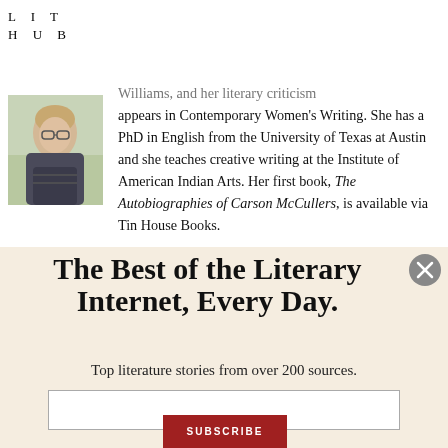LIT HUB
[Figure (photo): Author headshot photo, person wearing glasses]
...Williams, and her literary criticism appears in Contemporary Women's Writing. She has a PhD in English from the University of Texas at Austin and she teaches creative writing at the Institute of American Indian Arts. Her first book, The Autobiographies of Carson McCullers, is available via Tin House Books.
The Best of the Literary Internet, Every Day.
Top literature stories from over 200 sources.
SUBSCRIBE